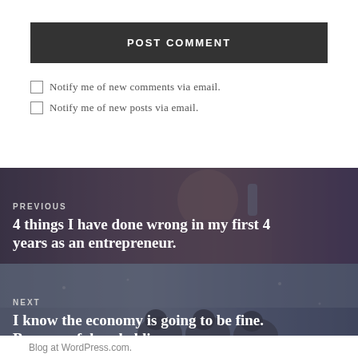POST COMMENT
Notify me of new comments via email.
Notify me of new posts via email.
[Figure (photo): Background photo of person at a race or event, used as navigation banner for previous post]
PREVIOUS
4 things I have done wrong in my first 4 years as an entrepreneur.
[Figure (photo): Background photo of dog sledding team in snowy conditions, used as navigation banner for next post]
NEXT
I know the economy is going to be fine. Because of dog sledding.
Blog at WordPress.com.